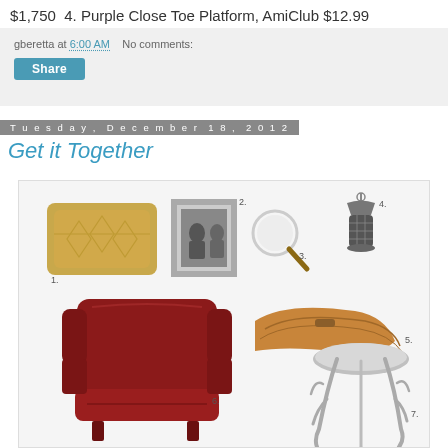$1,750  4. Purple Close Toe Platform, AmiClub $12.99
gberetta at 6:00 AM    No comments:
Share
Tuesday, December 18, 2012
Get it Together
[Figure (photo): Collage of home decor items numbered 1-7: 1. Gold/tan patterned throw pillow, 2. Gray photo frame with black and white photo, 3. Magnifying glass, 4. Industrial hanging lantern light, 5. Brown/tan folded blanket/throw, 6. Dark red leather wingback chair, 7. Silver antler side table with round top]